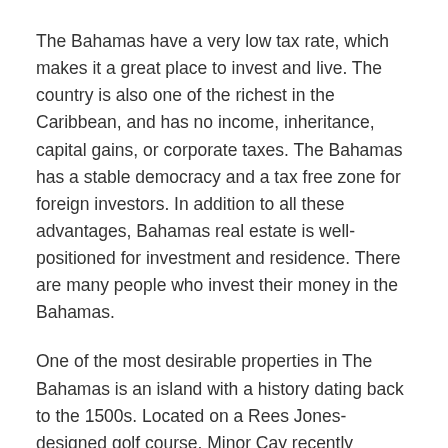The Bahamas have a very low tax rate, which makes it a great place to invest and live. The country is also one of the richest in the Caribbean, and has no income, inheritance, capital gains, or corporate taxes. The Bahamas has a stable democracy and a tax free zone for foreign investors. In addition to all these advantages, Bahamas real estate is well-positioned for investment and residence. There are many people who invest their money in the Bahamas.
One of the most desirable properties in The Bahamas is an island with a history dating back to the 1500s. Located on a Rees Jones-designed golf course, Minor Cay recently underwent a multi-million dollar makeover. In the past, a Minor Cay estate was sold for $12 million. The former owner, John Safer, was a real estate agent in The Bahamas. The island's rich and famous were all